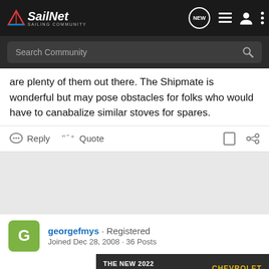SailNet - Sailing Community
are plenty of them out there. The Shipmate is wonderful but may pose obstacles for folks who would have to canabalize similar stoves for spares.
Reply  Quote
georgefmys · Registered
Joined Dec 28, 2008 · 36 Posts
[Figure (screenshot): Chevrolet Silverado 2022 advertisement banner]
#5 · Jan